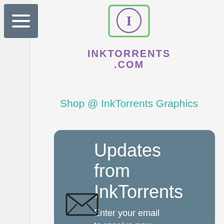[Figure (logo): InkTorrents.com logo with circular emblem and purple text]
Shop @ InkTorrents Graphics
Updates from InkTorrents
Enter your email to receive new inspirations, product reviews and more...